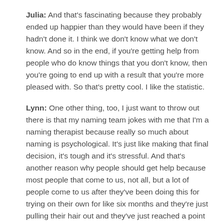Julia: And that's fascinating because they probably ended up happier than they would have been if they hadn't done it. I think we don't know what we don't know. And so in the end, if you're getting help from people who do know things that you don't know, then you're going to end up with a result that you're more pleased with. So that's pretty cool. I like the statistic.
Lynn: One other thing, too, I just want to throw out there is that my naming team jokes with me that I'm a naming therapist because really so much about naming is psychological. It's just like making that final decision, it's tough and it's stressful. And that's another reason why people should get help because most people that come to us, not all, but a lot of people come to us after they've been doing this for trying on their own for like six months and they're just pulling their hair out and they've just reached a point of frustration and they say, "I'm stuck, I'm stuck! We can't do it." And that's why they end up coming